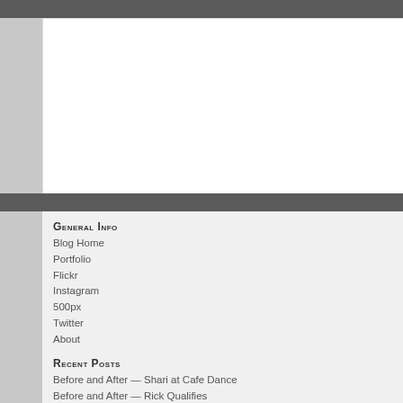General Info
Blog Home
Portfolio
Flickr
Instagram
500px
Twitter
About
Recent Posts
Before and After — Shari at Cafe Dance
Before and After — Rick Qualifies
Before and After — The Block
Before and After — Lisa at Cafe Dance
Before and After — Zion in the Gap
Archives
May 2012
April 2012
March 2012
February 2012
September 2010
April 2010
March 2010
February 2010
June 2009
May 2009
April 2009
March 2009
February 2009
Before and After —
The Before and After series focuses into creating an image. Specific tec curve adjustments and whatnot unl
Zion poses against a wall near the a
Exposure
Shutter: 1/250
Aperture: f/2.0
ISO: 200
Camera: Canon EOS 1
Lens: Canon EF 50mm
Composition and Processing
I love the texture on this floor and then a steel blu
I square cropped this to and didn't want anything attention in the red dre